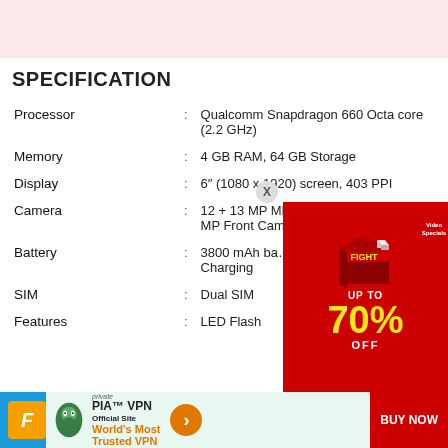SPECIFICATION
| Specification | : | Value |
| --- | --- | --- |
| Processor | : | Qualcomm Snapdragon 660 Octa core (2.2 GHz) |
| Memory | : | 4 GB RAM, 64 GB Storage |
| Display | : | 6" (1080 x 1920) screen, 403 PPI |
| Camera | : | 12 + 13 MP MPDual Rear camera, 16 MP Front Camera with Video recording |
| Battery | : | 3800 mAh ba... Charging |
| SIM | : | Dual SIM |
| Features | : | LED Flash |
[Figure (advertisement): Red advertisement overlay showing UP TO 70% OFF with a 3D box graphic]
[Figure (advertisement): PIA VPN - World's Most Trusted VPN banner advertisement at the bottom with BUY NOW button]